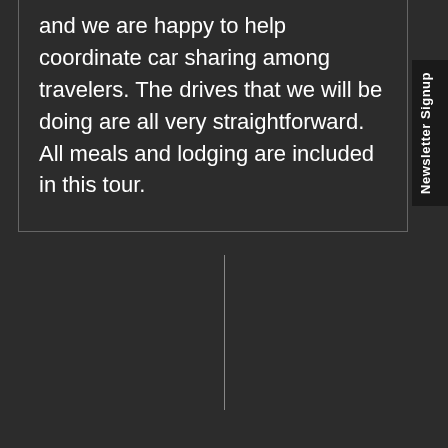and we are happy to help coordinate car sharing among travelers. The drives that we will be doing are all very straightforward. All meals and lodging are included in this tour.
Newsletter Signup